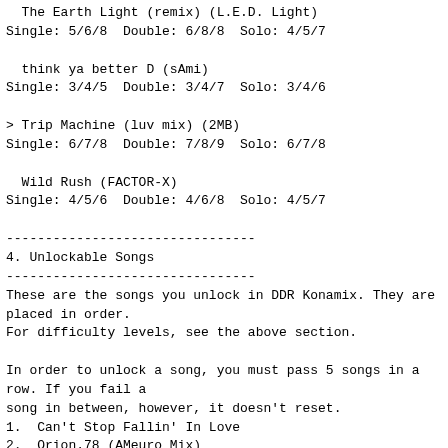The Earth Light (remix) (L.E.D. Light)
Single: 5/6/8  Double: 6/8/8  Solo: 4/5/7
think ya better D (sAmi)
Single: 3/4/5  Double: 3/4/7  Solo: 3/4/6
> Trip Machine (luv mix) (2MB)
Single: 6/7/8  Double: 7/8/9  Solo: 6/7/8
Wild Rush (FACTOR-X)
Single: 4/5/6  Double: 4/6/8  Solo: 4/5/7
--------------------------------
4. Unlockable Songs
--------------------------------
These are the songs you unlock in DDR Konamix. They are
placed in order.
For difficulty levels, see the above section.
In order to unlock a song, you must pass 5 songs in a
row. If you fail a
song in between, however, it doesn't reset.
1.  Can't Stop Fallin' In Love
2.  Orion.78 (AMeuro Mix)
3.  Absolute
4.  Super Star
5.  PARANOiA Rebirth
6.  Holic